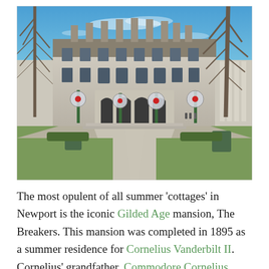[Figure (photo): Exterior view of The Breakers mansion in Newport, Rhode Island. A grand Gilded Age stone mansion is shown from the front driveway perspective with a bright blue sky. Bare winter trees flank the sides. The driveway leads to the main entrance with ornate lamp posts decorated with large Christmas ornament balls. Green hedgerows line the path.]
The most opulent of all summer 'cottages' in Newport is the iconic Gilded Age mansion, The Breakers. This mansion was completed in 1895 as a summer residence for Cornelius Vanderbilt II. Cornelius' grandfather, Commodore Cornelius